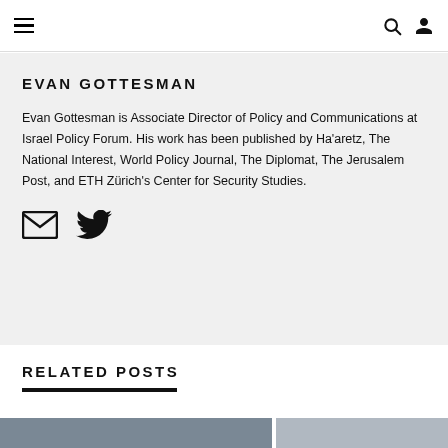Navigation bar with hamburger menu, search icon, and user icon
EVAN GOTTESMAN
Evan Gottesman is Associate Director of Policy and Communications at Israel Policy Forum. His work has been published by Ha'aretz, The National Interest, World Policy Journal, The Diplomat, The Jerusalem Post, and ETH Zürich's Center for Security Studies.
[Figure (infographic): Email and Twitter social media icons]
RELATED POSTS
[Figure (photo): Two thumbnail images for related posts]